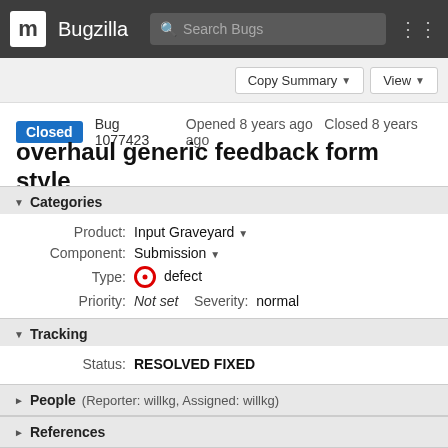m Bugzilla  Search Bugs
Copy Summary  View
Closed  Bug 1077423  Opened 8 years ago  Closed 8 years ago
overhaul generic feedback form style
▼ Categories
| Field | Value |
| --- | --- |
| Product: | Input Graveyard ▾ |
| Component: | Submission ▾ |
| Type: | ⊙ defect |
| Priority: | Not set   Severity:  normal |
▼ Tracking
| Field | Value |
| --- | --- |
| Status: | RESOLVED FIXED |
▶ People (Reporter: willkg, Assigned: willkg)
▶ References